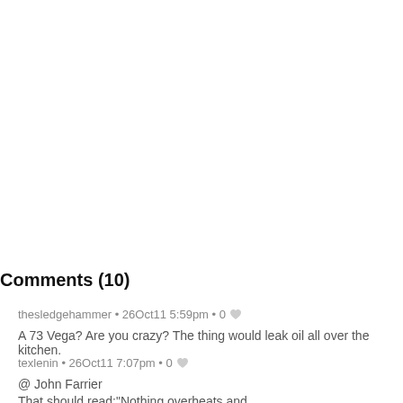Comments (10)
thesledgehammer • 26Oct11 5:59pm • 0 ♥
A 73 Vega? Are you crazy? The thing would leak oil all over the kitchen.
texlenin • 26Oct11 7:07pm • 0 ♥
@ John Farrier
That should read:"Nothing overheats and